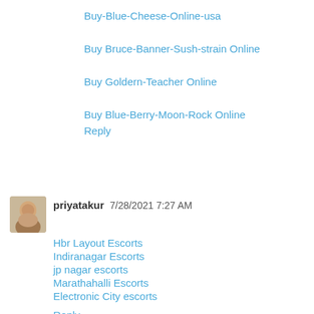Buy-Blue-Cheese-Online-usa
Buy Bruce-Banner-Sush-strain Online
Buy Goldern-Teacher Online
Buy Blue-Berry-Moon-Rock Online
Reply
priyatakur  7/28/2021 7:27 AM
Hbr Layout Escorts
Indiranagar Escorts
jp nagar escorts
Marathahalli Escorts
Electronic City escorts
Reply